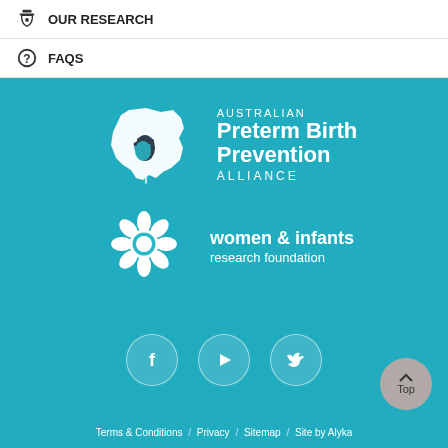OUR RESEARCH
FAQS
[Figure (logo): Australian Preterm Birth Prevention Alliance logo — white outline of Australia with hand prints, next to text AUSTRALIAN Preterm Birth Prevention ALLIANCE]
[Figure (logo): Women & Infants Research Foundation logo — white floral/feminine symbol, next to text women & infants research foundation]
[Figure (illustration): Three social media icons in translucent circles: Facebook (f), YouTube (play button), Twitter (bird)]
Terms & Conditions  /  Privacy  /  Sitemap  /  Site by Alyka